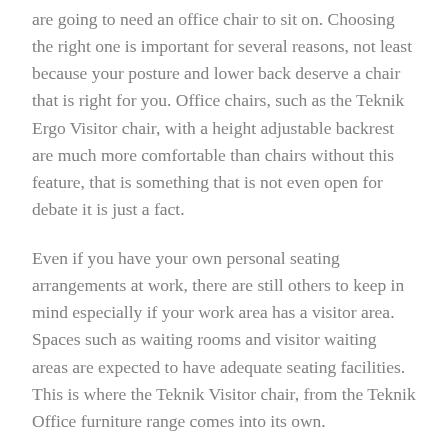are going to need an office chair to sit on. Choosing the right one is important for several reasons, not least because your posture and lower back deserve a chair that is right for you. Office chairs, such as the Teknik Ergo Visitor chair, with a height adjustable backrest are much more comfortable than chairs without this feature, that is something that is not even open for debate it is just a fact.
Even if you have your own personal seating arrangements at work, there are still others to keep in mind especially if your work area has a visitor area. Spaces such as waiting rooms and visitor waiting areas are expected to have adequate seating facilities. This is where the Teknik Visitor chair, from the Teknik Office furniture range comes into its own.
A generously sized padded seat provides optimum comfort while the height adjustable backrest adds to the comfort of the user. A cantilever base allows the chair to tilt back according to the weight of the user, to a point, providing an almost custom experience every time.